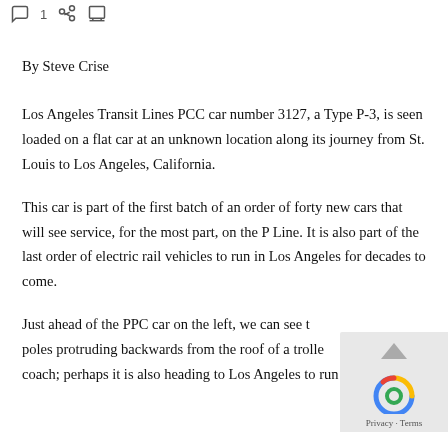icons: comment, share, print
By Steve Crise
Los Angeles Transit Lines PCC car number 3127, a Type P-3, is seen loaded on a flat car at an unknown location along its journey from St. Louis to Los Angeles, California.
This car is part of the first batch of an order of forty new cars that will see service, for the most part, on the P Line. It is also part of the last order of electric rail vehicles to run in Los Angeles for decades to come.
Just ahead of the PPC car on the left, we can see the poles protruding backwards from the roof of a trolley coach; perhaps it is also heading to Los Angeles to run on